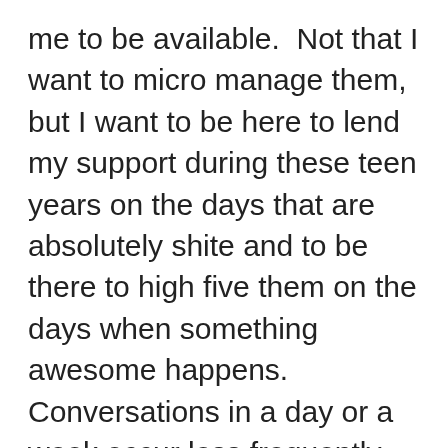me to be available.  Not that I want to micro manage them, but I want to be here to lend my support during these teen years on the days that are absolutely shite and to be there to high five them on the days when something awesome happens.   Conversations in a day or a week occur less frequently now, but when they do, they are long and in depth because there is an openness among all of us.